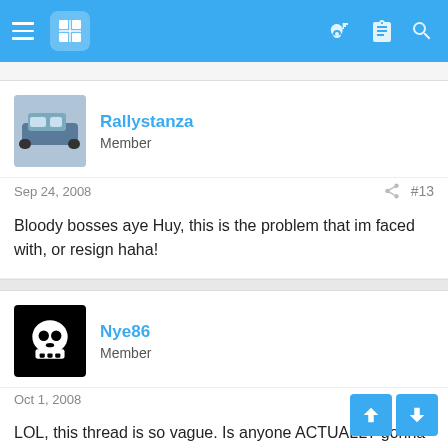Forum navigation bar with hamburger menu, logo, key icon, list icon, and search icon
Rallystanza
Member
Sep 24, 2008  #13
Bloody bosses aye Huy, this is the problem that im faced with, or resign haha!
Nye86
Member
Oct 1, 2008
LOL, this thread is so vague. Is anyone ACTUALLY gonna be driving